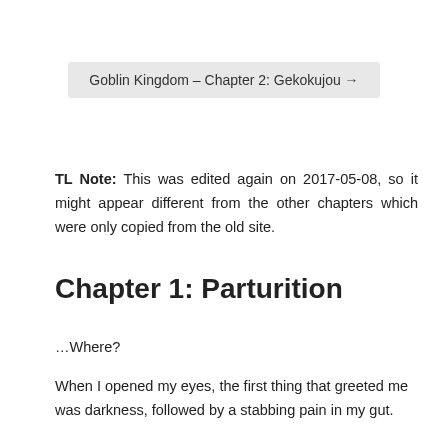Goblin Kingdom – Chapter 2: Gekokujou →
TL Note: This was edited again on 2017-05-08, so it might appear different from the other chapters which were only copied from the old site.
Chapter 1: Parturition
…Where?
When I opened my eyes, the first thing that greeted me was darkness, followed by a stabbing pain in my gut.